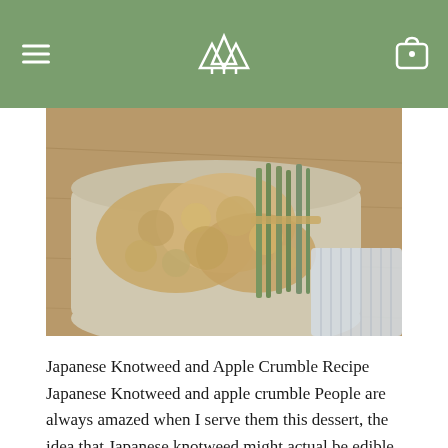△△△
[Figure (photo): A baking dish or round bowl filled with a crumble dessert, with bundled green stems (Japanese knotweed) resting across it, on a wooden surface with a striped cloth nearby.]
Japanese Knotweed and Apple Crumble Recipe Japanese Knotweed and apple crumble People are always amazed when I serve them this dessert, the idea that Japanese knotweed might actual be edible is enough to get questions flying, even